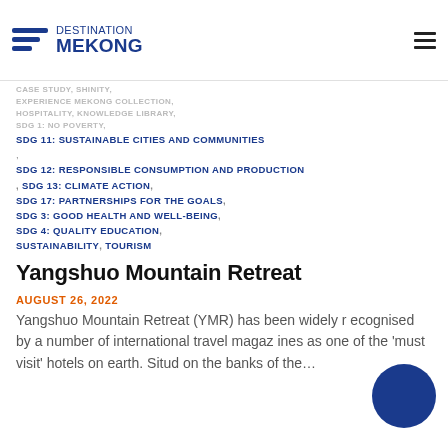DESTINATION MEKONG
SDG 11: SUSTAINABLE CITIES AND COMMUNITIES
SDG 12: RESPONSIBLE CONSUMPTION AND PRODUCTION
SDG 13: CLIMATE ACTION
SDG 17: PARTNERSHIPS FOR THE GOALS
SDG 3: GOOD HEALTH AND WELL-BEING
SDG 4: QUALITY EDUCATION
SUSTAINABILITY, TOURISM
Yangshuo Mountain Retreat
AUGUST 26, 2022
Yangshuo Mountain Retreat (YMR) has been widely recognised by a number of international travel magazines as one of the ‘must visit’ hotels on earth. Situd on the banks of the…